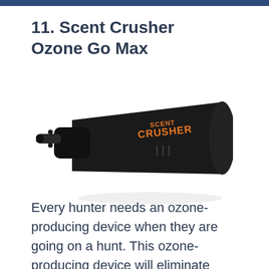11. Scent Crusher Ozone Go Max
[Figure (photo): A black Scent Crusher Ozone Go Max device — a wedge-shaped car plug-in ozone generator with an orange 'Scent Crusher' logo on its side, plugged into a car lighter socket adapter.]
Every hunter needs an ozone-producing device when they are going on a hunt. This ozone-producing device will eliminate human, pet, and food smell from